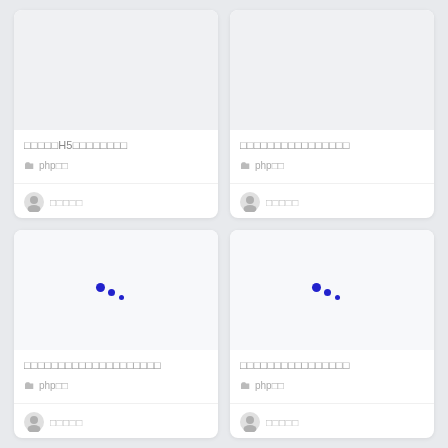[Figure (screenshot): Card 1 top-left: loaded image area (light gray background)]
□□□□□H5□□□□□□□□
php□□
□□□□□
[Figure (screenshot): Card 2 top-right: loaded image area (light gray background)]
□□□□□□□□□□□□□□□□
php□□
□□□□□
[Figure (screenshot): Card 3 bottom-left: loading spinner dots]
□□□□□□□□□□□□□□□□□□□□
php□□
□□□□□
[Figure (screenshot): Card 4 bottom-right: loading spinner dots]
□□□□□□□□□□□□□□□□
php□□
□□□□□